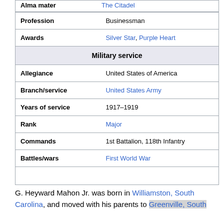| Field | Value |
| --- | --- |
| Alma mater | The Citadel |
| Profession | Businessman |
| Awards | Silver Star, Purple Heart |
| Military service |  |
| Allegiance | United States of America |
| Branch/service | United States Army |
| Years of service | 1917–1919 |
| Rank | Major |
| Commands | 1st Battalion, 118th Infantry |
| Battles/wars | First World War |
G. Heyward Mahon Jr. was born in Williamston, South Carolina, and moved with his parents to Greenville, South Carolina,